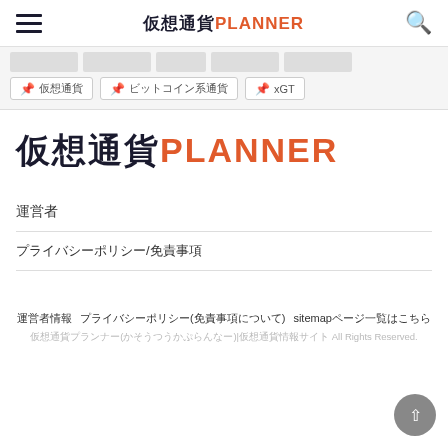仮想通貨PLANNER
🏷 仮想通貨  🏷 ビットコイン系通貨  🏷 xGT
仮想通貨PLANNER
運営者
プライバシーポリシー/免責事項
運営者情報　プライバシーポリシー(免責事項について)　sitemapページ一覧はこちら
仮想通貨プランナー(かそうつうかぷらんなー)|仮想通貨情報サイト All Rights Reserved.